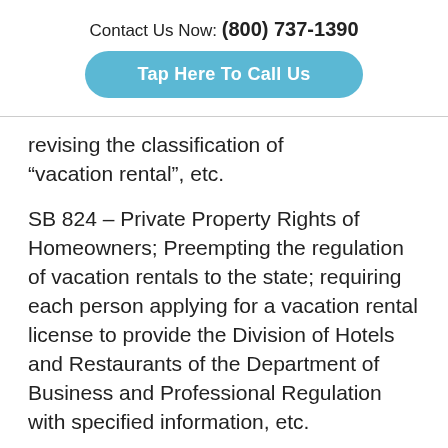Contact Us Now: (800) 737-1390
Tap Here To Call Us
revising the classification of "vacation rental", etc.
SB 824 – Private Property Rights of Homeowners; Preempting the regulation of vacation rentals to the state; requiring each person applying for a vacation rental license to provide the Division of Hotels and Restaurants of the Department of Business and Professional Regulation with specified information, etc.